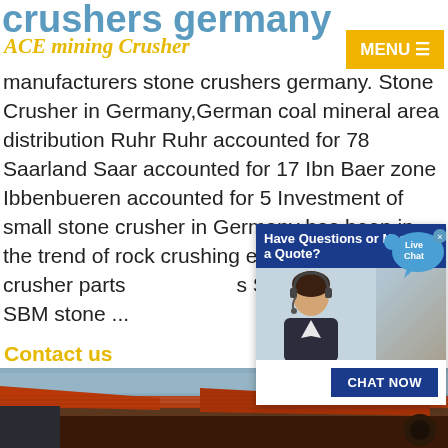crushers germany
ACE mining Crusher
manufacturers stone crushers germany. Stone Crusher in Germany,German coal mineral area distribution Ruhr Ruhr accounted for 78 Saarland Saar accounted for 17 Ibn Baer zone Ibbenbueren accounted for 5 Investment of small stone crusher in Germany has been in the trend of rock crushing equi...rus... crusher parts ...s Shanghai SBM stone ...
Contact us
[Figure (screenshot): Live chat popup with 'Have Questions or Need a Quote?' header, a woman with headset, and CHAT NOW button]
[Figure (photo): Orange/red industrial rock crushing equipment machine photographed outdoors]